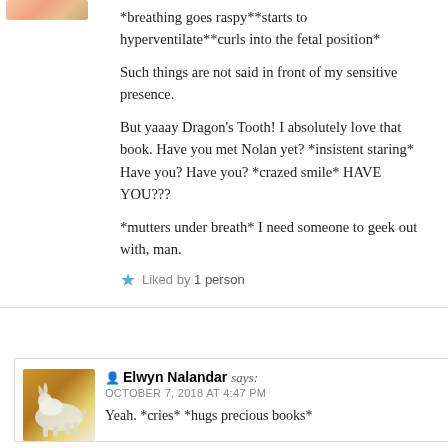[Figure (photo): Small avatar image at top left, partially visible, appears to be a colorful/illustrated image]
*breathing goes raspy**starts to hyperventilate**curls into the fetal position*
Such things are not said in front of my sensitive presence.
But yaaay Dragon's Tooth! I absolutely love that book. Have you met Nolan yet? *insistent staring* Have you? Have you? *crazed smile* HAVE YOU???
*mutters under breath* I need someone to geek out with, man.
★ Liked by 1 person
REPLY
[Figure (photo): Avatar image of a white horse/unicorn lying down in a golden field]
Elwyn Nalandar says:
OCTOBER 7, 2018 AT 4:47 PM
Yeah. *cries* *hugs precious books*